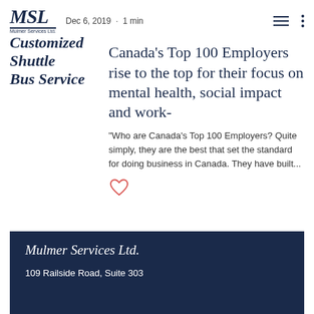MSL Mulmer Services Ltd. Dec 6, 2019 · 1 min
Customized Shuttle Bus Service
Canada's Top 100 Employers rise to the top for their focus on mental health, social impact and work-
"Who are Canada's Top 100 Employers? Quite simply, they are the best that set the standard for doing business in Canada. They have built...
[Figure (illustration): Heart/like icon outline in coral/red color]
Mulmer Services Ltd.
109 Railside Road, Suite 303